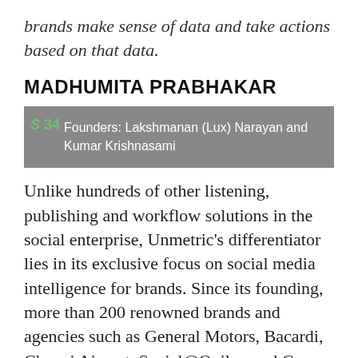brands make sense of data and take actions based on that data.
MADHUMITA PRABHAKAR
Founders: Lakshmanan (Lux) Narayan and Kumar Krishnasami
Unlike hundreds of other listening, publishing and workflow solutions in the social enterprise, Unmetric’s differentiator lies in its exclusive focus on social media intelligence for brands. Since its founding, more than 200 renowned brands and agencies such as General Motors, Bacardi, Changi Airport, Social@Ogilvy and Group